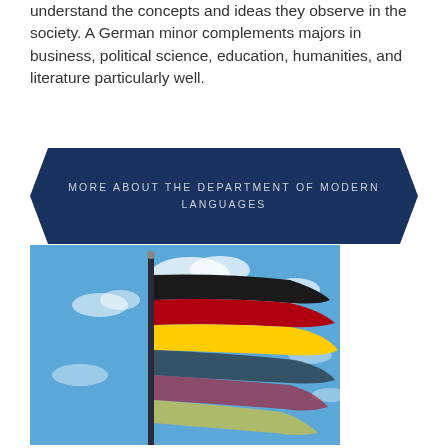understand the concepts and ideas they observe in the society. A German minor complements majors in business, political science, education, humanities, and literature particularly well.
MORE ABOUT THE DEPARTMENT OF MODERN LANGUAGES
[Figure (photo): A German flag waving on a flagpole against a blue sky with white clouds]